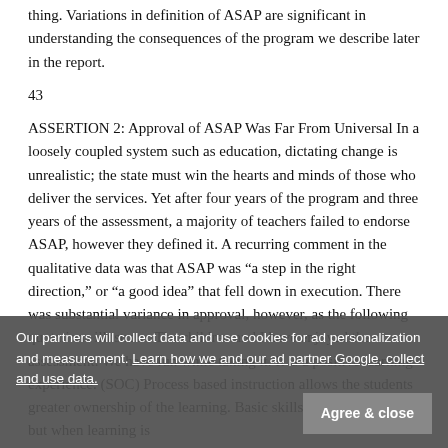thing. Variations in definition of ASAP are significant in understanding the consequences of the program we describe later in the report.
43
ASSERTION 2: Approval of ASAP Was Far From Universal In a loosely coupled system such as education, dictating change is unrealistic; the state must win the hearts and minds of those who deliver the services. Yet after four years of the program and three years of the assessment, a majority of teachers failed to endorse ASAP, however they defined it. A recurring comment in the qualitative data was that ASAP was “a step in the right direction,” or “a good idea” that fell down in execution. There was substantial variance in approval, however, as the following quotations illustrate: The children and I have enjoyed the assessment. We have fun while taking it. It is a positive learning experience. (SOC) Process based instruction allows the students greater ownership of the learning. Basic skills must be acquired but when learning is
Our partners will collect data and use cookies for ad personalization and measurement. Learn how we and our ad partner Google, collect and use data.  Agree & close